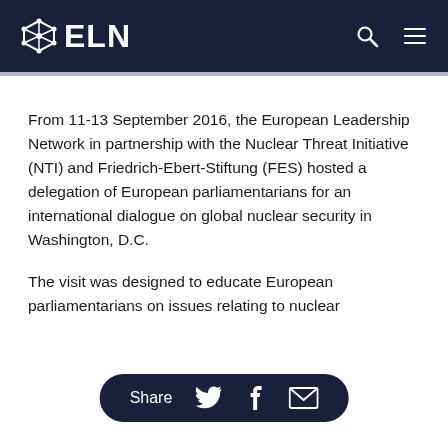ELN
From 11-13 September 2016, the European Leadership Network in partnership with the Nuclear Threat Initiative (NTI) and Friedrich-Ebert-Stiftung (FES) hosted a delegation of European parliamentarians for an international dialogue on global nuclear security in Washington, D.C.
The visit was designed to educate European parliamentarians on issues relating to nuclear